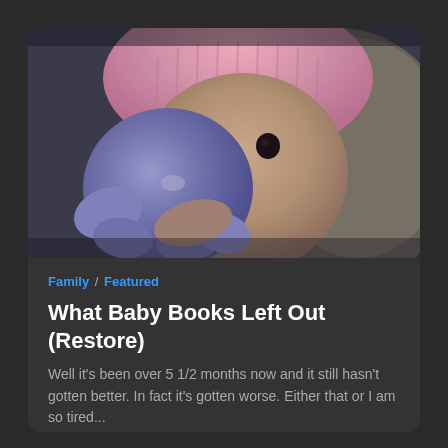[Figure (photo): A baby wearing a pink knit hat holding a purple stuffed animal toy close to its face, looking at the camera]
Family / Featured
What Baby Books Left Out (Restore)
Well it's been over 5 1/2 months now and it still hasn't gotten better. In fact it's gotten worse. Either that or I am so tired...